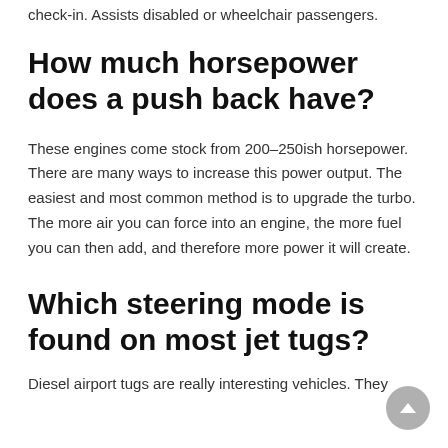check-in. Assists disabled or wheelchair passengers.
How much horsepower does a push back have?
These engines come stock from 200–250ish horsepower. There are many ways to increase this power output. The easiest and most common method is to upgrade the turbo. The more air you can force into an engine, the more fuel you can then add, and therefore more power it will create.
Which steering mode is found on most jet tugs?
Diesel airport tugs are really interesting vehicles. They are often equipped with the most expensive and ...